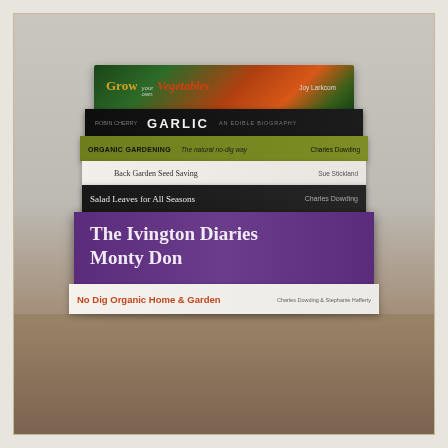[Figure (photo): A stack of seven gardening books photographed on a wooden table against a neutral grey background. From top to bottom: 'Grow Your Own Vegetables' by Joy Larkcom (green/orange cover), 'Garlic: An Edible Biography' by Robin Cherry (black cover), 'Organic Gardening: The natural no-dig way' by Charles Dowding (olive green cover), 'Back Garden Seed Saving' by Sue Stickland (white cover), 'Salad Leaves for All Seasons' by Charles Dowding (dark cover), 'The Ivington Diaries' by Monty Don (large purple cover), and 'No Dig Organic Home & Garden' by Charles Dowding & Stephanie Hafferty (white cover at bottom).]